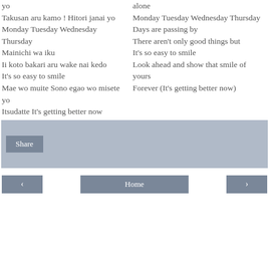yo
Takusan aru kamo ! Hitori janai yo
Monday Tuesday Wednesday Thursday
Mainichi wa iku
Ii koto bakari aru wake nai kedo
It's so easy to smile
Mae wo muite Sono egao wo misete yo
Itsudatte It's getting better now
alone
Monday Tuesday Wednesday Thursday
Days are passing by
There aren't only good things but
It's so easy to smile
Look ahead and show that smile of yours
Forever (It's getting better now)
[Figure (other): Share button area with grey background]
[Figure (other): Navigation bar with left arrow, Home, and right arrow buttons]